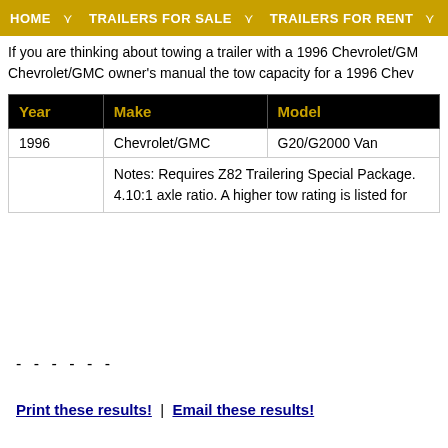HOME | TRAILERS FOR SALE | TRAILERS FOR RENT | PARTS & ACCES...
If you are thinking about towing a trailer with a 1996 Chevrolet/GM... Chevrolet/GMC owner's manual the tow capacity for a 1996 Chev...
| Year | Make | Model |
| --- | --- | --- |
| 1996 | Chevrolet/GMC | G20/G2000 Van... |
|  | Notes:  Requires Z82 Trailering Special Package... 4.10:1 axle ratio. A higher tow rating is listed for... |  |
- - - - - -
Print these results!  |  Email these results!